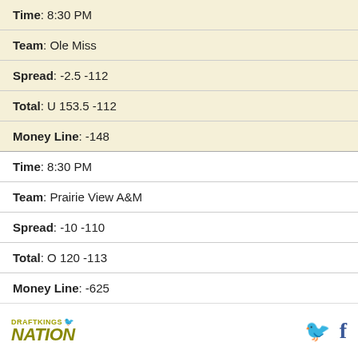| Time : 8:30 PM |
| Team : Ole Miss |
| Spread : -2.5 -112 |
| Total : U 153.5 -112 |
| Money Line : -148 |
| Time : 8:30 PM |
| Team : Prairie View A&M |
| Spread : -10 -110 |
| Total : O 120 -113 |
| Money Line : -625 |
DRAFTKINGS NATION